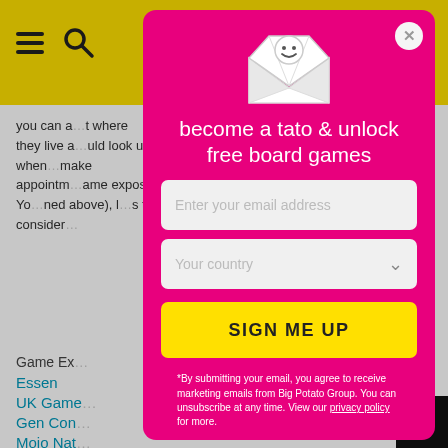you can a…t where they live a…uld look up when…make appointm…ame expos. Yo…ned above), l…s to consider…
Game Ex…
Essen
UK Game…
Gen Con…
Mojo Nat…
Trade Fai…
London, …
New York…
[Figure (illustration): Email newsletter signup modal popup on a board game website. Modal has a pink/magenta background with a cartoon envelope mascot at the top, heading text 'become a tato & unlock free board games', email input field, country dropdown, yellow SIGN ME UP button, and fine print about marketing emails from Big Potato Group.]
become a tato & unlock free board games
Enter your email address
Your country
SIGN ME UP
*By submitting your email, you agree to receive marketing emails from Big Potato Group. You can unsubscribe at any time. View our privacy policy for more.